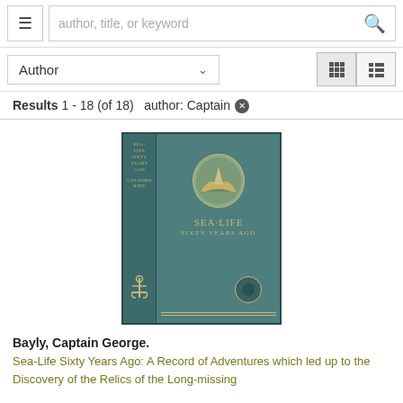author, title, or keyword
Author
Results 1-18 (of 18)   author: Captain ✕
[Figure (photo): Book cover of Sea-Life Sixty Years Ago, blue cloth binding with gold lettering and oval illustration of sailing scene, anchor emblem on spine]
Bayly, Captain George.
Sea-Life Sixty Years Ago: A Record of Adventures which led up to the Discovery of the Relics of the Long-missing